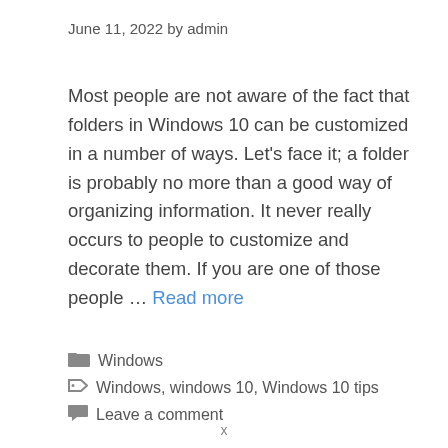June 11, 2022 by admin
Most people are not aware of the fact that folders in Windows 10 can be customized in a number of ways. Let's face it; a folder is probably no more than a good way of organizing information. It never really occurs to people to customize and decorate them. If you are one of those people … Read more
Windows
Windows, windows 10, Windows 10 tips
Leave a comment